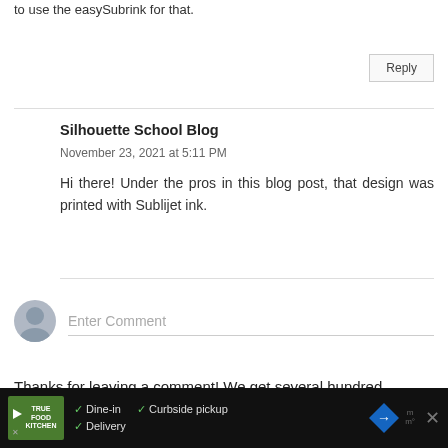to use the easySubrink for that.
Reply
Silhouette School Blog
November 23, 2021 at 5:11 PM
Hi there! Under the pros in this blog post, that design was printed with Sublijet ink.
Enter Comment
Thanks for leaving a comment! We get several hundred comments a day. While we appreciate every single one of them it's nearly impossible to respond back to all of them, all the time. So, if you could
[Figure (other): Advertisement banner at bottom of page. Shows True Food Kitchen ad with dine-in, curbside pickup, and delivery options. Also shows a blue road sign and what appears to be cooking-related icons.]